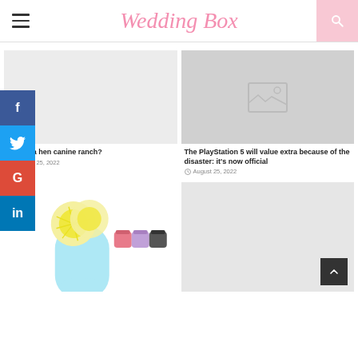Wedding Box
[Figure (screenshot): Left article card: gray placeholder image area, then title 'What's a hen canine ranch?' and date August 25, 2022]
[Figure (screenshot): Right article card: gray placeholder image with mountain icon, title 'The PlayStation 5 will value extra because of the disaster: it's now official', date August 25, 2022]
[Figure (photo): Bottom-left card showing product photo: a light blue roller bottle with lemon slices, and small colored cups (pink, purple, dark gray) in background]
[Figure (screenshot): Bottom-right card: gray placeholder image area with back-to-top button]